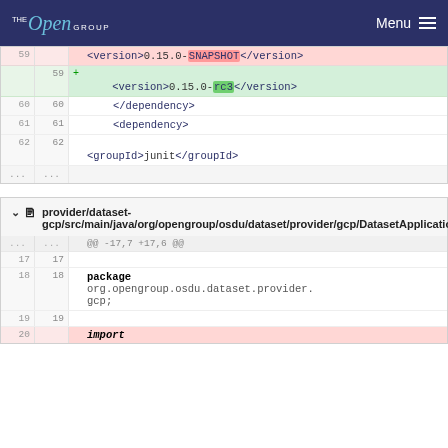THE Open GROUP  Menu
[Figure (screenshot): Diff view of pom.xml showing version change from 0.15.0-SNAPSHOT to 0.15.0-rc3, with surrounding lines for </dependency>, <dependency>, and <groupId>junit</groupId>]
provider/dataset-gcp/src/main/java/org/opengroup/osdu/dataset/provider/gcp/DatasetApplicationGCP.java
[Figure (screenshot): Diff view of DatasetApplicationGCP.java showing context lines 17-19 and 20 (import removed), with package org.opengroup.osdu.dataset.provider.gcp;]